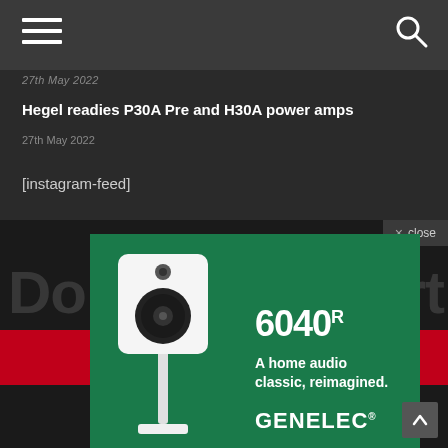27th May 2022
Hegel readies P30A Pre and H30A power amps
27th May 2022
[instagram-feed]
× close
[Figure (photo): Advertisement for Genelec 6040R speaker. Green background with white studio monitor speaker on stand. Text reads: 6040R A home audio classic, reimagined. GENELEC]
Do...ort
↑